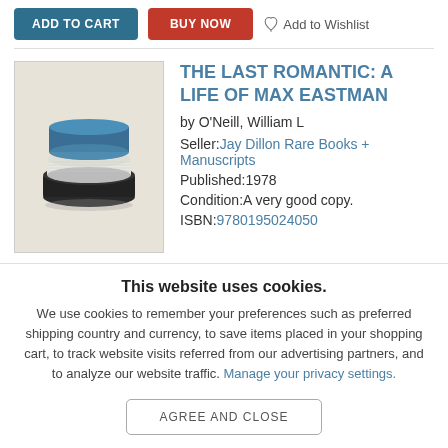[Figure (screenshot): Top navigation bar with ADD TO CART button (dark teal), BUY NOW button (red), and Add to Wishlist link with heart-pin icon]
[Figure (illustration): Book cover thumbnail showing an illustrated stack of books with blue cover on a beige background]
THE LAST ROMANTIC: A LIFE OF MAX EASTMAN
by O'Neill, William L
Seller:Jay Dillon Rare Books + Manuscripts
Published:1978
Condition:A very good copy.
ISBN:9780195024050
This website uses cookies.
We use cookies to remember your preferences such as preferred shipping country and currency, to save items placed in your shopping cart, to track website visits referred from our advertising partners, and to analyze our website traffic. Manage your privacy settings.
AGREE AND CLOSE